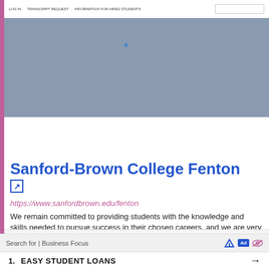[Figure (screenshot): Screenshot of a website with grey header area and navigation links including search box]
[Figure (screenshot): White card showing 'Sanford-Brown College - Fenton' with small text and tagline]
Sanford-Brown College Fenton
https://www.sanfordbrown.edu/fenton
We remain committed to providing students with the knowledge and skills needed to pursue success in their chosen careers, and we are very proud of the  ...
481,958 Pageviews
US Top Country
Search for | Business Focus
1. EASY STUDENT LOANS →